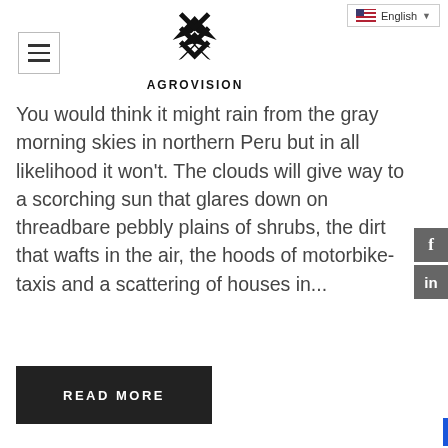AGROVISION
You would think it might rain from the gray morning skies in northern Peru but in all likelihood it won't. The clouds will give way to a scorching sun that glares down on threadbare pebbly plains of shrubs, the dirt that wafts in the air, the hoods of motorbike-taxis and a scattering of houses in...
READ MORE